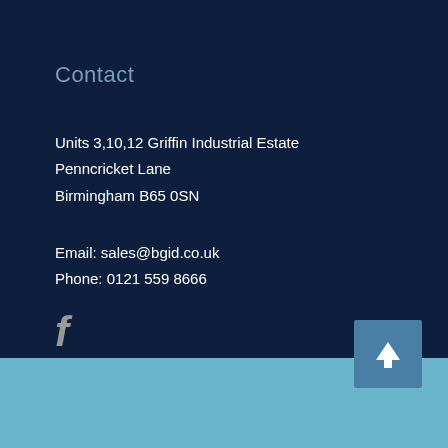Contact
Units 3,10,12 Griffin Industrial Estate
Penncricket Lane
Birmingham B65 0SN
Email: sales@bgid.co.uk
Phone: 0121 559 8666
[Figure (logo): Facebook social media icon (letter f)]
[Figure (other): Scroll to top button with upward arrow icon]